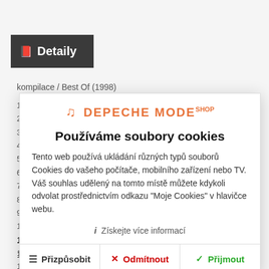Detaily
kompilace / Best Of (1998)
1
2
3
4
5
6
7
8
9
1
1
1
1
1
[Figure (screenshot): Cookie consent dialog for Depeche Mode Shop website with logo, title 'Používáme soubory cookies', body text, info link, and three buttons: Přizpůsobit, Odmítnout, Přijmout]
15. All She Wants Is (45 Mix)
16. Electric Barbarella (Radio Edit)